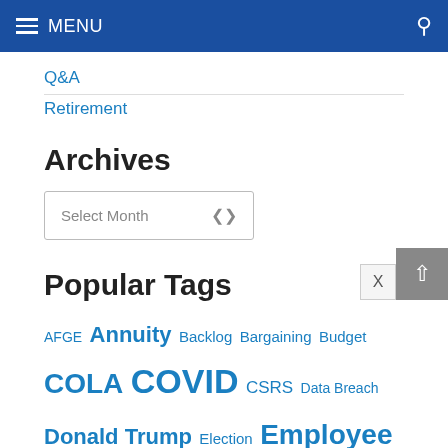MENU
Q&A
Retirement
Archives
Select Month
Popular Tags
AFGE Annuity Backlog Bargaining Budget COLA COVID CSRS Data Breach Donald Trump Election Employee Relations Exemption Order FedSmith Polls